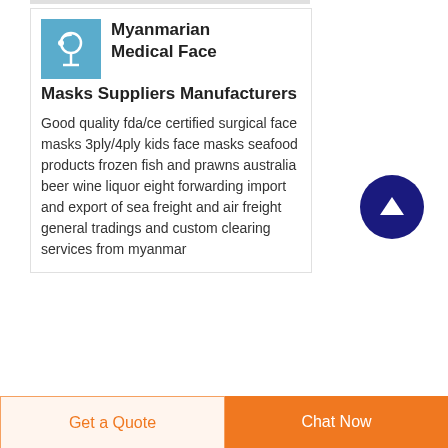Myanmarian Medical Face Masks Suppliers Manufacturers
Good quality fda/ce certified surgical face masks 3ply/4ply kids face masks seafood products frozen fish and prawns australia beer wine liquor eight forwarding import and export of sea freight and air freight general tradings and custom clearing services from myanmar
[Figure (logo): Blue square logo with a medical/stethoscope icon]